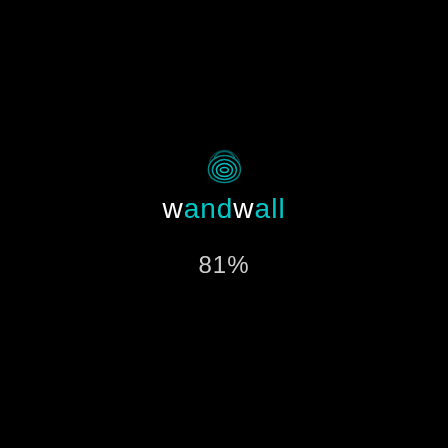[Figure (logo): Wandwall logo: a teal fingerprint/wave icon above the text 'wandwall' in teal with white 'w' characters]
81%